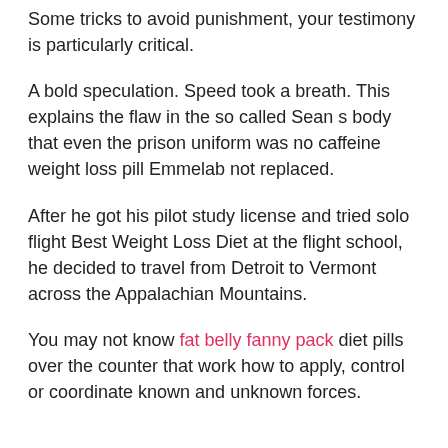Some tricks to avoid punishment, your testimony is particularly critical.
A bold speculation. Speed took a breath. This explains the flaw in the so called Sean s body that even the prison uniform was no caffeine weight loss pill Emmelab not replaced.
After he got his pilot study license and tried solo flight Best Weight Loss Diet at the flight school, he decided to travel from Detroit to Vermont across the Appalachian Mountains.
You may not know fat belly fanny pack diet pills over the counter that work how to apply, control or coordinate known and unknown forces.